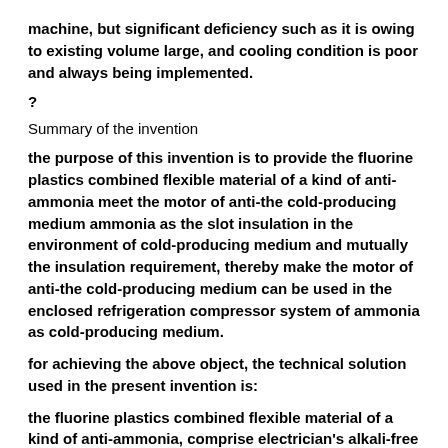machine, but significant deficiency such as it is owing to existing volume large, and cooling condition is poor and always being implemented.
?
Summary of the invention
the purpose of this invention is to provide the fluorine plastics combined flexible material of a kind of anti-ammonia meet the motor of anti-the cold-producing medium ammonia as the slot insulation in the environment of cold-producing medium and mutually the insulation requirement, thereby make the motor of anti-the cold-producing medium can be used in the enclosed refrigeration compressor system of ammonia as cold-producing medium.
for achieving the above object, the technical solution used in the present invention is:
the fluorine plastics combined flexible material of a kind of anti-ammonia, comprise electrician's alkali-free glass fiber cloth, and the two sides of described electrician's